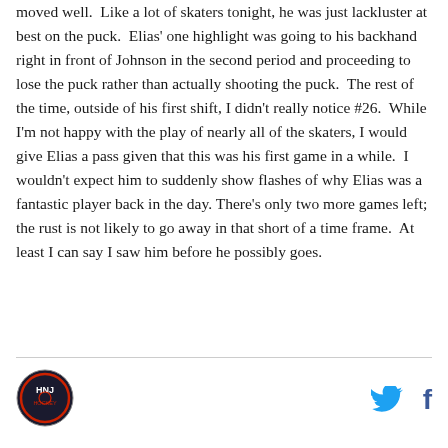moved well.  Like a lot of skaters tonight, he was just lackluster at best on the puck.  Elias' one highlight was going to his backhand right in front of Johnson in the second period and proceeding to lose the puck rather than actually shooting the puck.  The rest of the time, outside of his first shift, I didn't really notice #26.  While I'm not happy with the play of nearly all of the skaters, I would give Elias a pass given that this was his first game in a while.  I wouldn't expect him to suddenly show flashes of why Elias was a fantastic player back in the day. There's only two more games left; the rust is not likely to go away in that short of a time frame.  At least I can say I saw him before he possibly goes.
[Figure (logo): Hockey NJ circular logo]